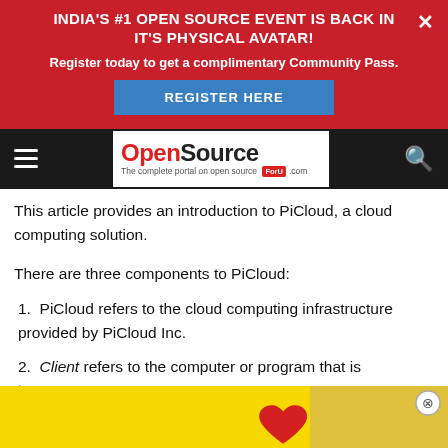INDIA'S #1 OPEN SOURCE EVENT IS BACK IN IT'S PHYSICAL AVATAR!
Register today to get a complimentary Community Pass.
REGISTER HERE
[Figure (logo): OpenSource For U .com logo with hamburger menu and search icon on dark navbar]
This article provides an introduction to PiCloud, a cloud computing solution.
There are three components to PiCloud:
1. PiCloud refers to the cloud computing infrastructure provided by PiCloud Inc.
2. Client refers to the computer or program that is interacting with PiCloud and receiving results.
[Figure (photo): Yellow advertisement banner with red heart image, close button at right]